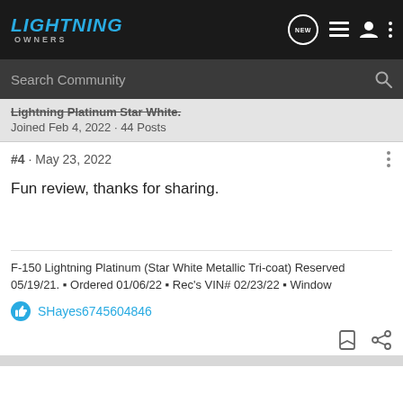LIGHTNING OWNERS
Search Community
Lightning Platinum Star White. Joined Feb 4, 2022 · 44 Posts
#4 · May 23, 2022
Fun review, thanks for sharing.
F-150 Lightning Platinum (Star White Metallic Tri-coat) Reserved 05/19/21. 🔵 Ordered 01/06/22 🔵 Rec's VIN# 02/23/22 🔵 Window
SHayes6745604846